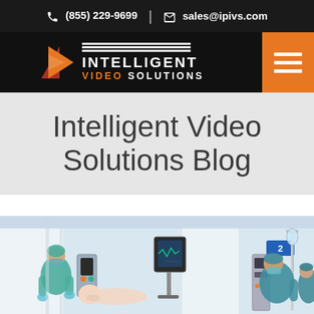(855) 229-9699 | sales@ipivs.com
[Figure (logo): Intelligent Video Solutions logo with play button icon, three white lines, and orange hamburger menu block]
Intelligent Video Solutions Blog
[Figure (photo): Medical professionals in scrubs and masks attending to a patient in a hospital ICU or operating room setting with medical equipment visible]